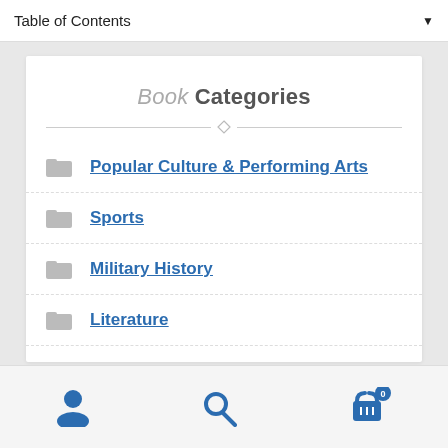Table of Contents
Book Categories
Popular Culture & Performing Arts
Sports
Military History
Literature
History
User icon | Search icon | Cart icon with badge 0